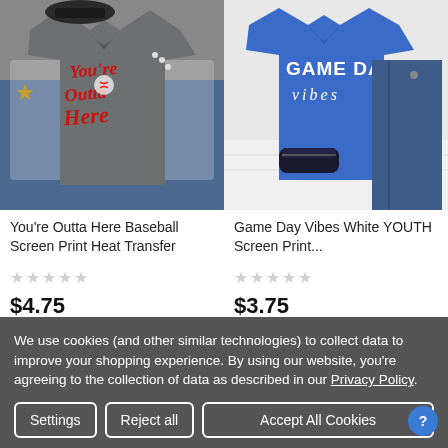[Figure (photo): Gray t-shirt with red script 'You're Outta Here' baseball design with baseball graphic, displayed with jeans and accessories]
[Figure (photo): Blue t-shirt with white text 'GAME DAY vibes', displayed with shoes and jeans]
You're Outta Here Baseball Screen Print Heat Transfer
Game Day Vibes White YOUTH Screen Print...
$4.75
$3.75
We use cookies (and other similar technologies) to collect data to improve your shopping experience. By using our website, you're agreeing to the collection of data as described in our Privacy Policy.
Settings
Reject all
Accept All Cookies